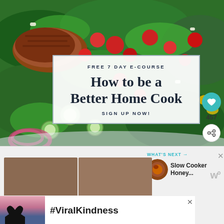[Figure (photo): Colorful salad with grilled meat, cherry tomatoes, spinach, cucumber, red onion, and feta cheese]
FREE 7 DAY E-COURSE
How to be a Better Home Cook
SIGN UP NOW!
[Figure (infographic): Heart/like button with teal background, count of 457, and share button]
[Figure (infographic): What's Next panel showing Slow Cooker Honey... with food thumbnail]
[Figure (photo): Video player area with brown panels]
[Figure (infographic): Advertisement banner with hands forming heart shape and text #ViralKindness]